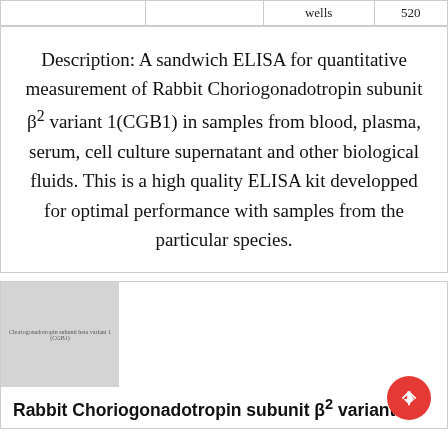|  |  | wells | 520 |
| --- | --- | --- | --- |
|  |  | wells | 520 |
Description: A sandwich ELISA for quantitative measurement of Rabbit Choriogonadotropin subunit β² variant 1(CGB1) in samples from blood, plasma, serum, cell culture supernatant and other biological fluids. This is a high quality ELISA kit developped for optimal performance with samples from the particular species.
[Figure (photo): Thumbnail image of Rabbit Choriogonadotropin subunit beta variant 1 (CGB1) product]
Rabbit Choriogonadotropin subunit β² variant